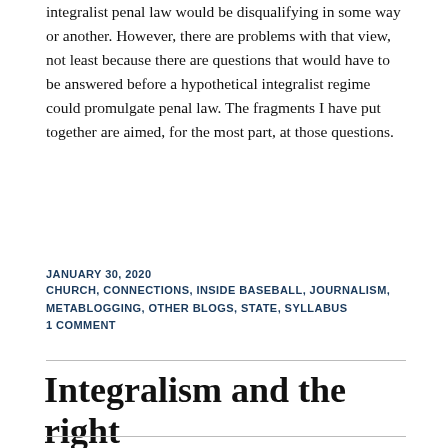integralist penal law would be disqualifying in some way or another. However, there are problems with that view, not least because there are questions that would have to be answered before a hypothetical integralist regime could promulgate penal law. The fragments I have put together are aimed, for the most part, at those questions.
JANUARY 30, 2020
CHURCH, CONNECTIONS, INSIDE BASEBALL, JOURNALISM, METABLOGGING, OTHER BLOGS, STATE, SYLLABUS
1 COMMENT
Integralism and the right